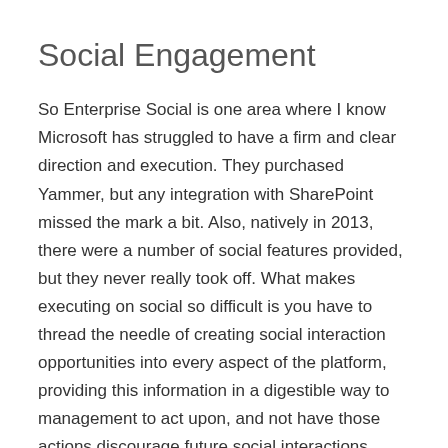Social Engagement
So Enterprise Social is one area where I know Microsoft has struggled to have a firm and clear direction and execution. They purchased Yammer, but any integration with SharePoint missed the mark a bit. Also, natively in 2013, there were a number of social features provided, but they never really took off. What makes executing on social so difficult is you have to thread the needle of creating social interaction opportunities into every aspect of the platform, providing this information in a digestible way to management to act upon, and not have those actions discourage future social interactions.